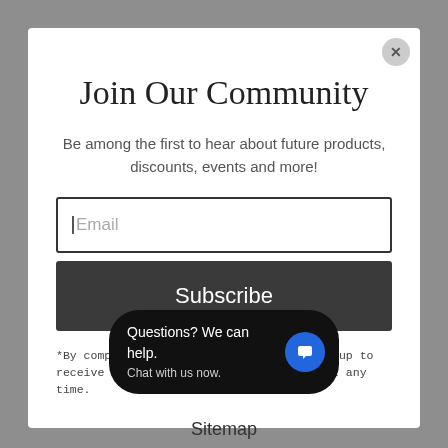Join Our Community
Be among the first to hear about future products, discounts, events and more!
Email
Subscribe
*By completing this form you are signing up to receive our emails and can unsubscribe at any time.
[Figure (screenshot): Chat widget with text 'Questions? We can help. Chat with us now.' and blue chat bubble icon on dark rounded background]
Sitemap